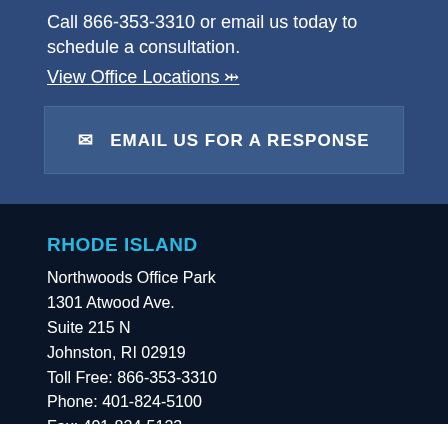Call 866-353-3310 or email us today to schedule a consultation.
View Office Locations ❯
✉ EMAIL US FOR A RESPONSE
RHODE ISLAND
Northwoods Office Park
1301 Atwood Ave.
Suite 215 N
Johnston, RI 02919
Toll Free: 866-353-3310
Phone: 401-824-5100
Fax: 401-824-5123
Map & Directions